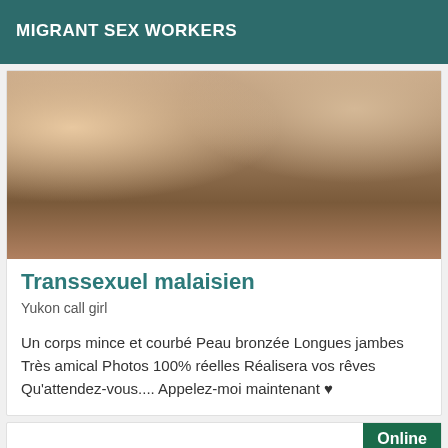MIGRANT SEX WORKERS
[Figure (photo): Close-up photo showing person's torso and hands]
Transsexuel malaisien
Yukon call girl
Un corps mince et courbé Peau bronzée Longues jambes Très amical Photos 100% réelles Réalisera vos rêves Qu'attendez-vous.... Appelez-moi maintenant ♥
Online